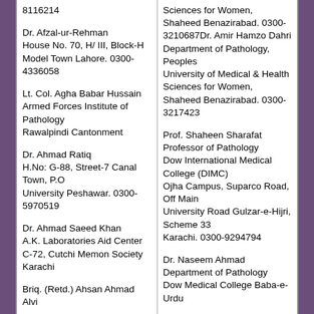8116214
Dr. Afzal-ur-Rehman
House No. 70, H/ III, Block-H
Model Town Lahore. 0300-4336058
Lt. Col. Agha Babar Hussain
Armed Forces Institute of Pathology
Rawalpindi Cantonment
Dr. Ahmad Ratiq
H.No: G-88, Street-7 Canal Town, P.O
University Peshawar. 0300-5970519
Dr. Ahmad Saeed Khan
A.K. Laboratories Aid Center
C-72, Cutchi Memon Society
Karachi
Briq. (Retd.) Ahsan Ahmad Alvi
Sciences for Women, Shaheed Benazirabad. 0300-3210687Dr. Amir Hamzo Dahri
Department of Pathology, Peoples
University of Medical & Health Sciences for Women, Shaheed Benazirabad. 0300-3217423
Prof. Shaheen Sharafat
Professor of Pathology
Dow International Medical College (DIMC)
Ojha Campus, Suparco Road, Off Main
University Road Gulzar-e-Hijri, Scheme 33
Karachi. 0300-9294794
Dr. Naseem Ahmad
Department of Pathology
Dow Medical College Baba-e-Urdu